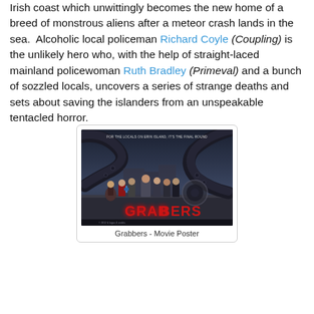Irish coast which unwittingly becomes the new home of a breed of monstrous aliens after a meteor crash lands in the sea.  Alcoholic local policeman Richard Coyle (Coupling) is the unlikely hero who, with the help of straight-laced mainland policewoman Ruth Bradley (Primeval) and a bunch of sozzled locals, uncovers a series of strange deaths and sets about saving the islanders from an unspeakable tentacled horror.
[Figure (photo): Movie poster for 'Grabbers' showing a group of characters standing on a street with giant alien tentacles looming overhead. Red stylized 'GRABBERS' logo at the bottom. Tagline at top reads 'FOR THE LOCALS ON ERIN ISLAND, IT'S THE FINAL ROUND'.]
Grabbers - Movie Poster